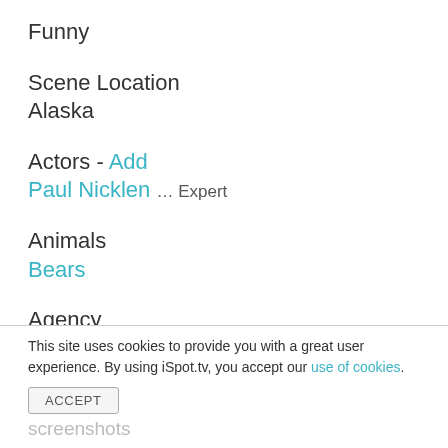Funny
Scene Location
Alaska
Actors - Add
Paul Nicklen … Expert
Animals
Bears
Agency
Universal McCann (UM) … Agency, mcgarrybowen … Creative Agency, Universal McCann (UM) … Media Agency
This site uses cookies to provide you with a great user experience. By using iSpot.tv, you accept our use of cookies. ACCEPT screenshots
screenshots